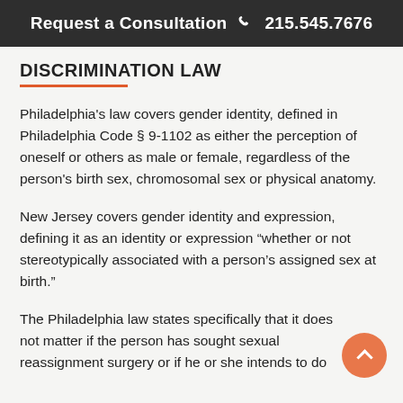Request a Consultation 215.545.7676
DISCRIMINATION LAW
Philadelphia's law covers gender identity, defined in Philadelphia Code § 9-1102 as either the perception of oneself or others as male or female, regardless of the person's birth sex, chromosomal sex or physical anatomy.
New Jersey covers gender identity and expression, defining it as an identity or expression “whether or not stereotypically associated with a person’s assigned sex at birth.”
The Philadelphia law states specifically that it does not matter if the person has sought sexual reassignment surgery or if he or she intends to do